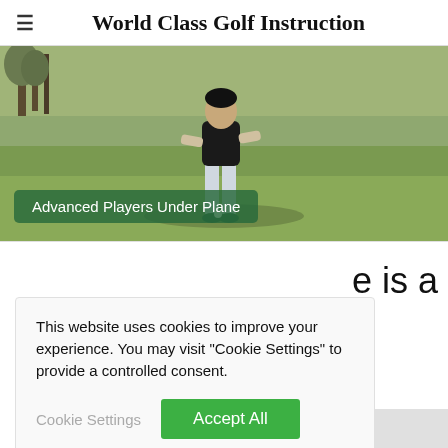World Class Golf Instruction
[Figure (photo): A golfer standing on a golf course, with text overlay reading 'Advanced Players Under Plane']
e is a
This website uses cookies to improve your experience. You may visit "Cookie Settings" to provide a controlled consent.
s content.
Watch >